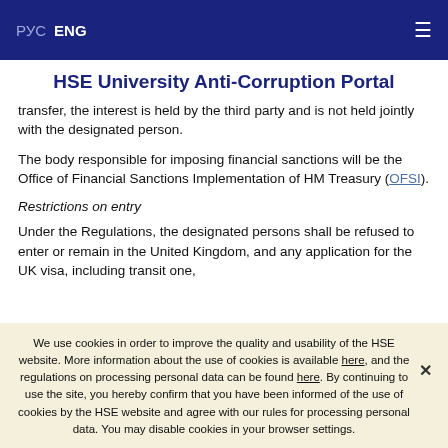РУС  ENG  ☰
HSE University Anti-Corruption Portal
transfer, the interest is held by the third party and is not held jointly with the designated person.
The body responsible for imposing financial sanctions will be the Office of Financial Sanctions Implementation of HM Treasury (OFSI).
Restrictions on entry
Under the Regulations, the designated persons shall be refused to enter or remain in the United Kingdom, and any application for the UK visa, including transit one,
We use cookies in order to improve the quality and usability of the HSE website. More information about the use of cookies is available here, and the regulations on processing personal data can be found here. By continuing to use the site, you hereby confirm that you have been informed of the use of cookies by the HSE website and agree with our rules for processing personal data. You may disable cookies in your browser settings.